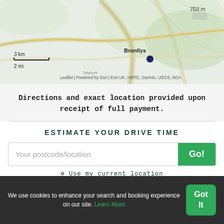[Figure (map): A topographic map showing the area around Bronllys, Wales. A blue dot marks Bronllys. Map scale shows 3 km / 2 mi. Elevation marker shows 703 m. Attribution: Leaflet | Powered by Esri | Esri UK, HERE, Garmin, USGS, NGA]
Directions and exact location provided upon receipt of full payment.
ESTIMATE YOUR DRIVE TIME
Your postcode/location
Go!
⊕ Use my current location
ABOUT COBBLE COTTAGE
We use cookies to enhance your search and booking experience on our site. Learn More
Got It